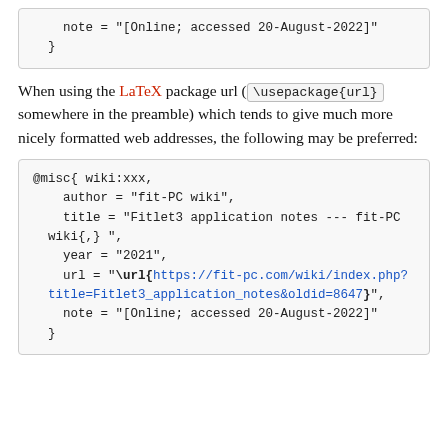note = "[Online; accessed 20-August-2022]"
  }
When using the LaTeX package url ( \usepackage{url} somewhere in the preamble) which tends to give much more nicely formatted web addresses, the following may be preferred:
@misc{ wiki:xxx,
    author = "fit-PC wiki",
    title = "Fitlet3 application notes --- fit-PC wiki{,} ",
    year = "2021",
    url = "\url{https://fit-pc.com/wiki/index.php?title=Fitlet3_application_notes&oldid=8647}",
    note = "[Online; accessed 20-August-2022]"
  }